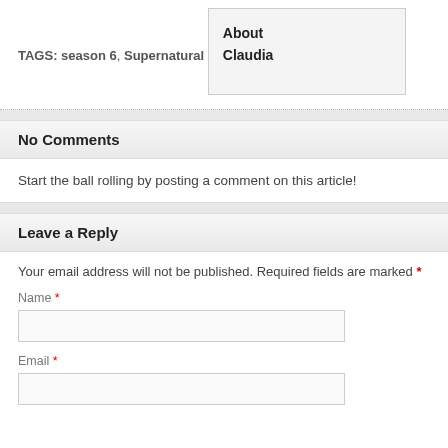TAGS: season 6, Supernatural
About Claudia
No Comments
Start the ball rolling by posting a comment on this article!
Leave a Reply
Your email address will not be published. Required fields are marked *
Name *
Email *